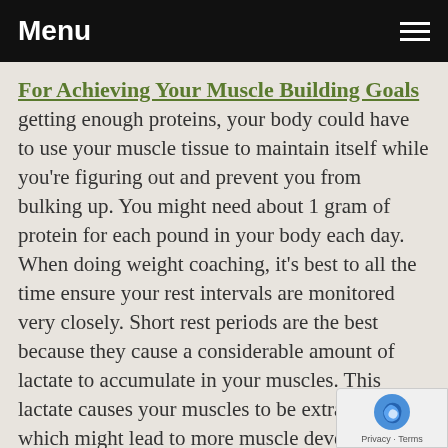Menu
For Achieving Your Muscle Building Goals
getting enough proteins, your body could have to use your muscle tissue to maintain itself while you're figuring out and prevent you from bulking up. You might need about 1 gram of protein for each pound in your body each day.
When doing weight coaching, it's best to all the time ensure your rest intervals are monitored very closely. Short rest periods are the best because they cause a considerable amount of lactate to accumulate in your muscles. This lactate causes your muscles to be extra fatigued, which might lead to more muscle development.
When starting a muscle-building program, heaps of people enhance the amount of protein they consume excessive amount of too quickly. This may cause